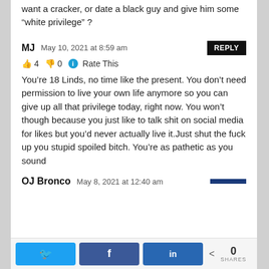want a cracker, or date a black guy and give him some “white privilege” ?
MJ   May 10, 2021 at 8:59 am
👍 4  👎 0  ℹ️  Rate This
You’re 18 Linds, no time like the present. You don’t need permission to live your own life anymore so you can give up all that privilege today, right now. You won’t though because you just like to talk shit on social media for likes but you’d never actually live it.Just shut the fuck up you stupid spoiled bitch. You’re as pathetic as you sound
OJ Bronco   May 8, 2021 at 12:40 am
0 SHARES